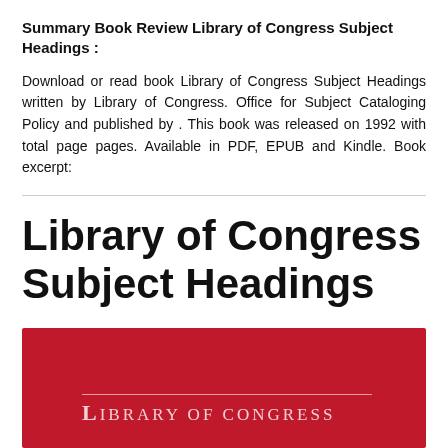Summary Book Review Library of Congress Subject Headings :
Download or read book Library of Congress Subject Headings written by Library of Congress. Office for Subject Cataloging Policy and published by . This book was released on 1992 with total page pages. Available in PDF, EPUB and Kindle. Book excerpt:
Library of Congress Subject Headings
[Figure (photo): Red book cover with 'LIBRARY OF CONGRESS' text in small caps with decorative line above, on a crimson/red background]